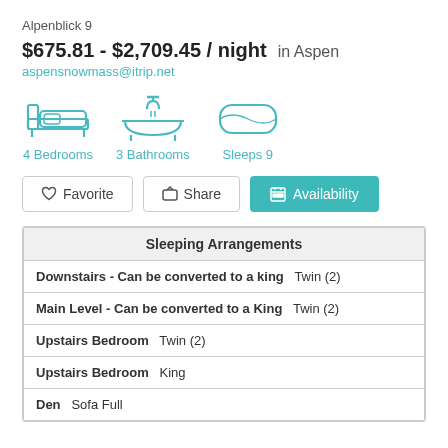Alpenblick 9
$675.81 - $2,709.45 / night  in Aspen
aspensnowmass@itrip.net
[Figure (infographic): Three icons: bed (4 Bedrooms), bathtub (3 Bathrooms), pillow (Sleeps 9) in blue/teal color]
Favorite  Share  Availability
| Sleeping Arrangements |
| --- |
| Downstairs - Can be converted to a king   Twin (2) |
| Main Level - Can be converted to a King   Twin (2) |
| Upstairs Bedroom   Twin (2) |
| Upstairs Bedroom   King |
| Den   Sofa Full |